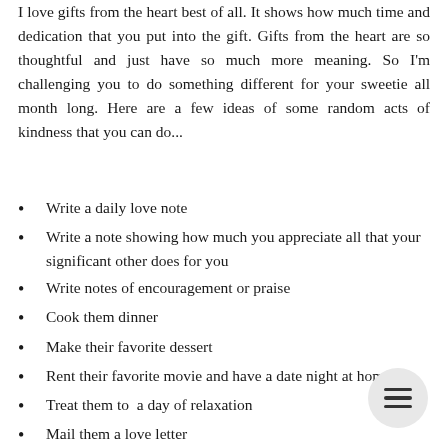I love gifts from the heart best of all. It shows how much time and dedication that you put into the gift. Gifts from the heart are so thoughtful and just have so much more meaning. So I'm challenging you to do something different for your sweetie all month long. Here are a few ideas of some random acts of kindness that you can do...
Write a daily love note
Write a note showing how much you appreciate all that your significant other does for you
Write notes of encouragement or praise
Cook them dinner
Make their favorite dessert
Rent their favorite movie and have a date night at home
Treat them to  a day of relaxation
Mail them a love letter
Make them a card